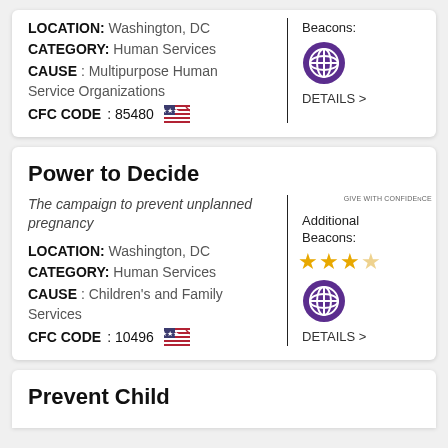LOCATION: Washington, DC
CATEGORY: Human Services
CAUSE : Multipurpose Human Service Organizations
CFC CODE: 85480
Additional Beacons:
DETAILS >
Power to Decide
The campaign to prevent unplanned pregnancy
LOCATION: Washington, DC
CATEGORY: Human Services
CAUSE : Children's and Family Services
CFC CODE: 10496
Additional Beacons:
DETAILS >
Prevent Child